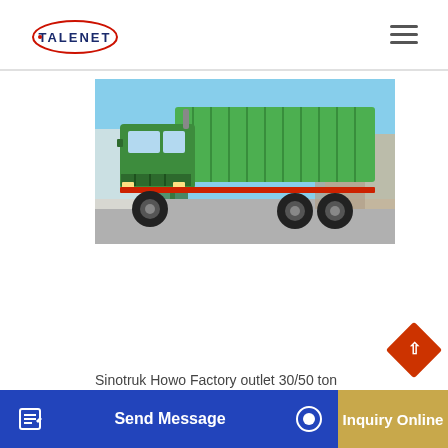TALENET
[Figure (photo): A green Sinotruk Howo dump truck (6x4 configuration) photographed in a yard, with a large green dump body, red frame accents, and visible wheels. The truck faces left against a blue sky background with industrial buildings in the background.]
Sinotruk Howo Factory outlet 30/50 ton dump truck 10wheels 371 hp Used 8x4 4 Truck. $35,000.00-$ ud dump trucks for